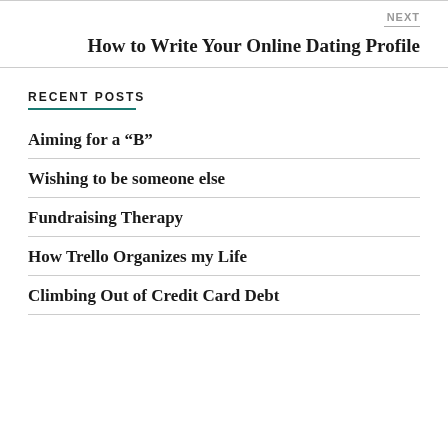NEXT
How to Write Your Online Dating Profile
RECENT POSTS
Aiming for a “B”
Wishing to be someone else
Fundraising Therapy
How Trello Organizes my Life
Climbing Out of Credit Card Debt